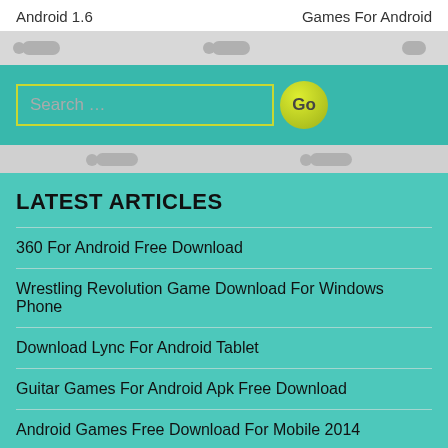Android 1.6 | Games For Android
[Figure (screenshot): Search bar with text input 'Search ...' and a yellow-green circular Go button]
LATEST ARTICLES
360 For Android Free Download
Wrestling Revolution Game Download For Windows Phone
Download Lync For Android Tablet
Guitar Games For Android Apk Free Download
Android Games Free Download For Mobile 2014
New Living Translation Bible Download For Android